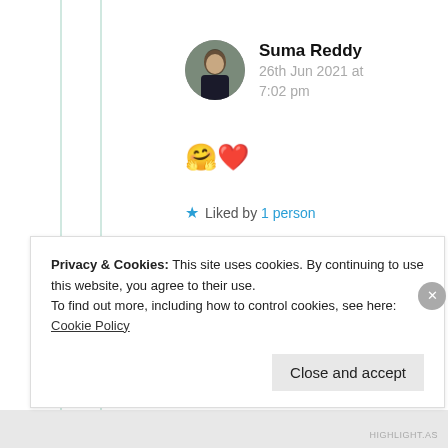Suma Reddy
26th Jun 2021 at 7:02 pm
🤗❤️
★ Liked by 1 person
Privacy & Cookies: This site uses cookies. By continuing to use this website, you agree to their use.
To find out more, including how to control cookies, see here: Cookie Policy
Close and accept